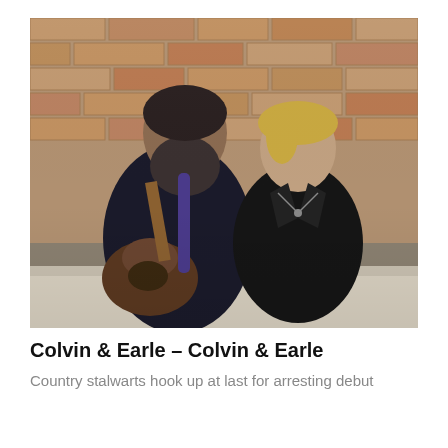[Figure (photo): Two musicians — a bearded man holding an acoustic guitar and a woman with short blonde hair in a black jacket — seated on a couch in front of a brick wall background.]
Colvin & Earle – Colvin & Earle
Country stalwarts hook up at last for arresting debut